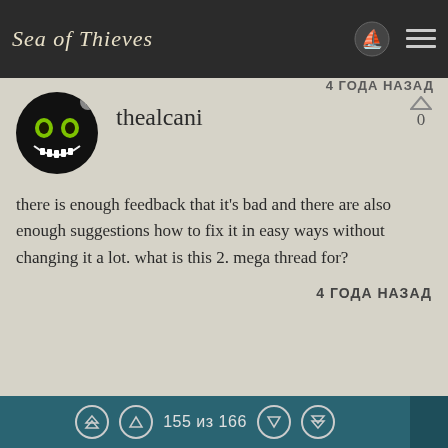Sea of Thieves
4 ГОДА НАЗАД (partial, top)
thealcani
there is enough feedback that it's bad and there are also enough suggestions how to fix it in easy ways without changing it a lot. what is this 2. mega thread for?
4 ГОДА НАЗАД
Fet 72
Master
155 из 166